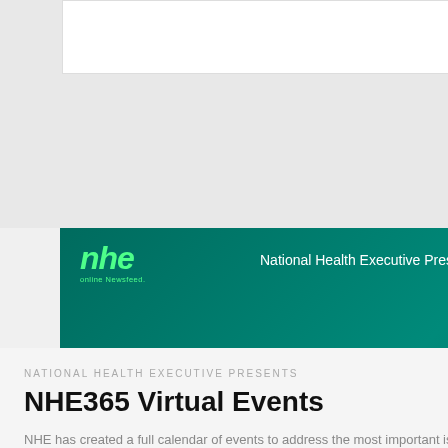Hospital in St... available to vie...
[Figure (illustration): NHE365 Virtual Events promotional banner with teal/green background, NHE logo, text 'National Health Executive Presents: Virtual Events']
NATIONAL HEALTH EXECUTIVE PRESENTS
NHE365 Virtual Events
NHE has created a full calendar of events to address the most important issues that influence the delivery of